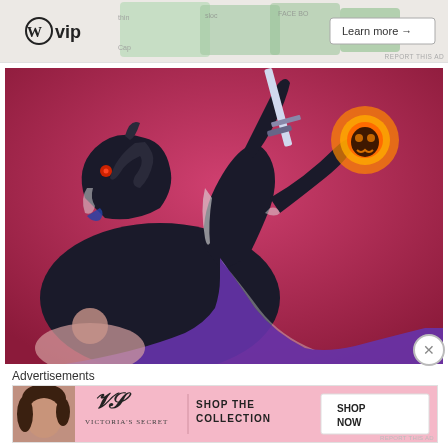[Figure (screenshot): Top advertisement banner showing WordPress VIP logo and 'Learn more →' button on light gray background with partial text and icons visible]
[Figure (illustration): Stylized illustration of the Headless Horseman on a black horse against a pink/magenta background. The rider is a dark silhouette holding a sword aloft and a flaming jack-o-lantern head in the other hand. The horse has glowing red eyes. Purple cape flowing behind.]
Advertisements
[Figure (screenshot): Victoria's Secret advertisement banner with pink background. Left: photo of a woman with curly hair. Center: Victoria's Secret logo with cursive text. Right: 'SHOP THE COLLECTION' text and 'SHOP NOW' button in white box.]